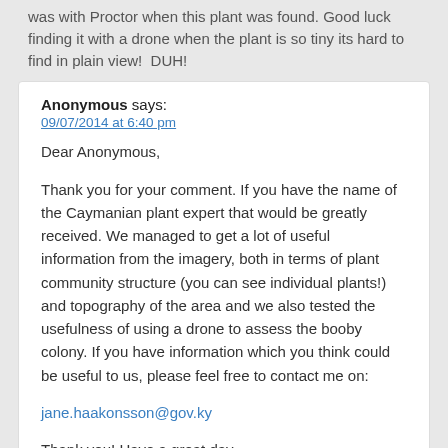was with Proctor when this plant was found. Good luck finding it with a drone when the plant is so tiny its hard to find in plain view!  DUH!
Anonymous says:
09/07/2014 at 6:40 pm

Dear Anonymous,

Thank you for your comment. If you have the name of the Caymanian plant expert that would be greatly received. We managed to get a lot of useful information from the imagery, both in terms of plant community structure (you can see individual plants!) and topography of the area and we also tested the usefulness of using a drone to assess the booby colony. If you have information which you think could be useful to us, please feel free to contact me on:

jane.haakonsson@gov.ky

Thank you! Have a great day.

Kind regards,

Jane Haakonsson